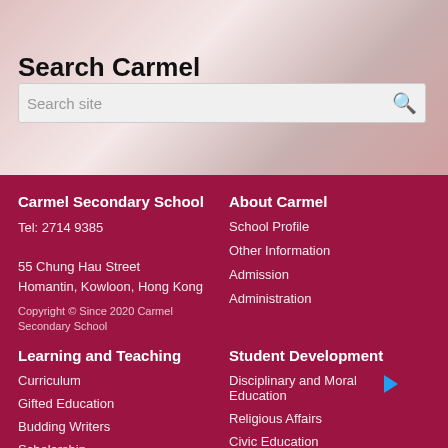Search Carmel
Search site
Carmel Secondary School
Tel: 2714 9385
55 Chung Hau Street
Homantin, Kowloon, Hong Kong
Copyright © Since 2020 Carmel Secondary School
About Carmel
School Profile
Other Information
Admission
Administration
Learning and Teaching
Student Development
Curriculum
Gifted Education
Budding Writers
Scholarship
Disciplinary and Moral Education
Religious Affairs
Civic Education
Extra-curricular Activities